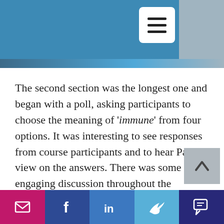[Figure (screenshot): Blue header bar with hamburger menu button (white rounded square with three horizontal lines) and gray area at top right]
The second section was the longest one and began with a poll, asking participants to choose the meaning of 'immune' from four options. It was interesting to see responses from course participants and to hear Pablo's view on the answers. There was some engaging discussion throughout the presentation on the origins and changes in meaning of particular words over the years. Here,
[Figure (screenshot): Bottom social sharing bar with five colored buttons: email (pink), Facebook (dark blue), LinkedIn (medium blue), Twitter (light blue), comment/chat (dark navy)]